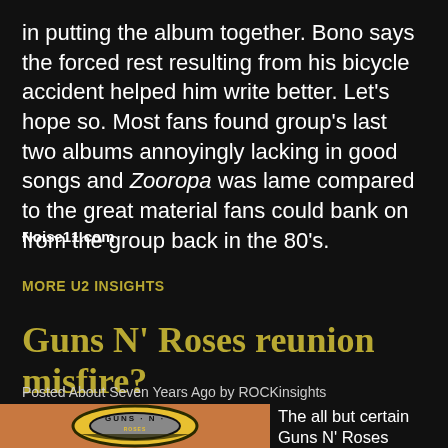in putting the album together. Bono says the forced rest resulting from his bicycle accident helped him write better. Let's hope so. Most fans found group's last two albums annoyingly lacking in good songs and Zooropa was lame compared to the great material fans could bank on from the group back in the 80's.
Noise11.com
MORE U2 INSIGHTS
Guns N' Roses reunion misfire?
Posted About Seven Years Ago by ROCKinsights
[Figure (photo): Guns N' Roses circular logo on orange background]
The all but certain Guns N' Roses reunion hit a speed bump on Monday when